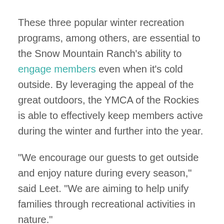These three popular winter recreation programs, among others, are essential to the Snow Mountain Ranch’s ability to engage members even when it’s cold outside. By leveraging the appeal of the great outdoors, the YMCA of the Rockies is able to effectively keep members active during the winter and further into the year.
“We encourage our guests to get outside and enjoy nature during every season,” said Leet. “We are aiming to help unify families through recreational activities in nature.”
Tags: Community Rec  community recreation  outdoor programming  programming  winter  winter recreation